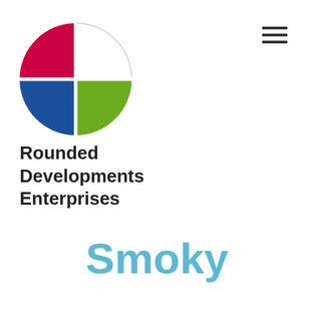[Figure (logo): Rounded Developments Enterprises logo: a circle divided into four quadrants — top-left is crimson/red, top-right is white with a border outline, bottom-left is blue, bottom-right is green. A thin cross divides the quadrants.]
Rounded Developments Enterprises
[Figure (other): Hamburger menu icon (three horizontal lines) in dark gray, positioned top-right]
Smoky